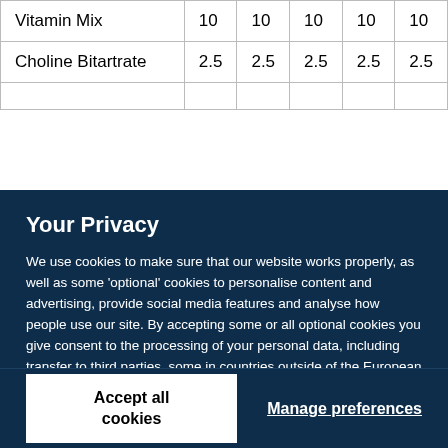| Vitamin Mix | 10 | 10 | 10 | 10 | 10 |
| Choline Bitartrate | 2.5 | 2.5 | 2.5 | 2.5 | 2.5 |
| (partial row cut off) |  |  |  |  |  |
Your Privacy
We use cookies to make sure that our website works properly, as well as some 'optional' cookies to personalise content and advertising, provide social media features and analyse how people use our site. By accepting some or all optional cookies you give consent to the processing of your personal data, including transfer to third parties, some in countries outside of the European Economic Area that do not offer the same data protection standards as the country where you live. You can decide which optional cookies to accept by clicking on 'Manage Settings', where you can also find more information about how your personal data is processed. Further information can be found in our privacy policy.
Accept all cookies
Manage preferences